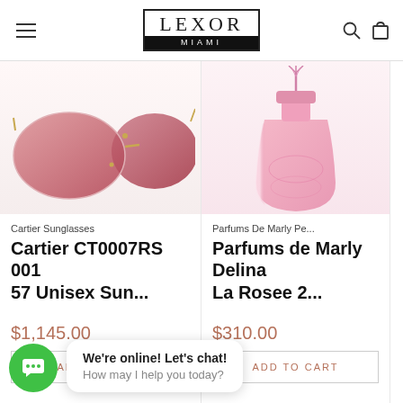LEXOR MIAMI
[Figure (photo): Cartier rimless rose-tinted sunglasses with gold arms, cropped product photo]
Cartier Sunglasses
Cartier CT0007RS 001 57 Unisex Sun...
$1,145.00
ADD TO CART
[Figure (photo): Parfums de Marly Delina La Rosee pink glass perfume bottle with tassel, cropped product photo]
Parfums De Marly Pe...
Parfums de Marly Delina La Rosee 2...
$310.00
ADD TO CART
We're online! Let's chat!
How may I help you today?